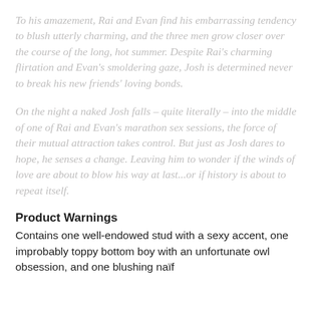To his amazement, Rai and Evan find his embarrassing tendency to blush utterly charming, and the three men grow closer over the course of the long, hot summer. Despite Rai's charming flirtation and Evan's smoldering gaze, Josh is determined never to break his new friends' loving bonds.
On the night a naked Josh falls – quite literally – into the middle of one of Rai and Evan's marathon sex sessions, the force of their mutual attraction takes control. But just as Josh dares to hope, he senses a change. Leaving him to wonder if the winds of love are about to blow his way at last...or if history is about to repeat itself.
Product Warnings
Contains one well-endowed stud with a sexy accent, one improbably toppy bottom boy with an unfortunate owl obsession, and one blushing naïf